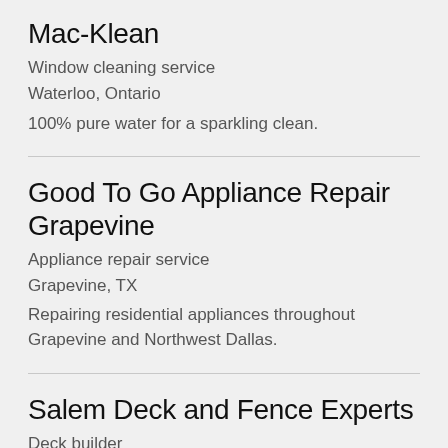Mac-Klean
Window cleaning service
Waterloo, Ontario
100% pure water for a sparkling clean.
Good To Go Appliance Repair Grapevine
Appliance repair service
Grapevine, TX
Repairing residential appliances throughout Grapevine and Northwest Dallas.
Salem Deck and Fence Experts
Deck builder